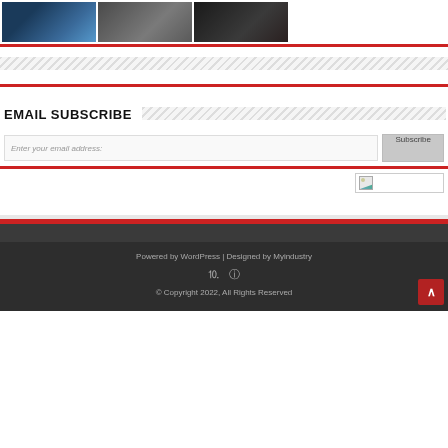[Figure (photo): Three movie/media thumbnail images in a row: a sci-fi character with blue glow, a man with a beard smoking/speaking, and a dark armored figure]
EMAIL SUBSCRIBE
Enter your email address:
Subscribe
[Figure (illustration): Broken image icon placeholder]
Powered by WordPress | Designed by Myindustry
© Copyright 2022, All Rights Reserved